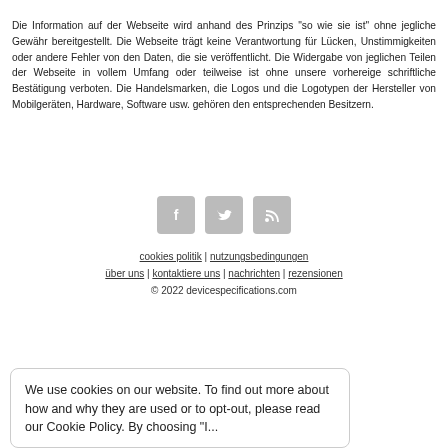Die Information auf der Webseite wird anhand des Prinzips "so wie sie ist" ohne jegliche Gewähr bereitgestellt. Die Webseite trägt keine Verantwortung für Lücken, Unstimmigkeiten oder andere Fehler von den Daten, die sie veröffentlicht. Die Widergabe von jeglichen Teilen der Webseite in vollem Umfang oder teilweise ist ohne unsere vorhereige schriftliche Bestätigung verboten. Die Handelsmarken, die Logos und die Logotypen der Hersteller von Mobilgeräten, Hardware, Software usw. gehören den entsprechenden Besitzern.
[Figure (infographic): Social media icons: Facebook, Twitter, RSS feed]
cookies politik | nutzungsbedingungen
über uns | kontaktiere uns | nachrichten | rezensionen
© 2022 devicespecifications.com
We use cookies on our website. To find out more about how and why they are used or to opt-out, please read our Cookie Policy. By choosing "I...